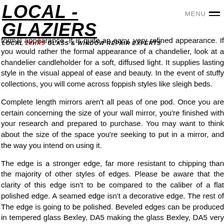LOCAL - GLAZIERS
LOCAL 24HRS GLASS & WINDOW REPAIR EXPERTS
formal appearance. It is quite an easy, very refined appearance. If you would rather the formal appearance of a chandelier, look at a chandelier candleholder for a soft, diffused light. It supplies lasting style in the visual appeal of ease and beauty. In the event of stuffy collections, you will come across foppish styles like sleigh beds.
Complete length mirrors aren't all peas of one pod. Once you are certain concerning the size of your wall mirror, you're finished with your research and prepared to purchase. You may want to think about the size of the space you're seeking to put in a mirror, and the way you intend on using it.
The edge is a stronger edge, far more resistant to chipping than the majority of other styles of edges. Please be aware that the clarity of this edge isn't to be compared to the caliber of a flat polished edge. A seamed edge isn't a decorative edge. The rest of The edge is going to be polished. Beveled edges can be produced in tempered glass Bexley, DA5 making the glass Bexley, DA5 very robust and at the